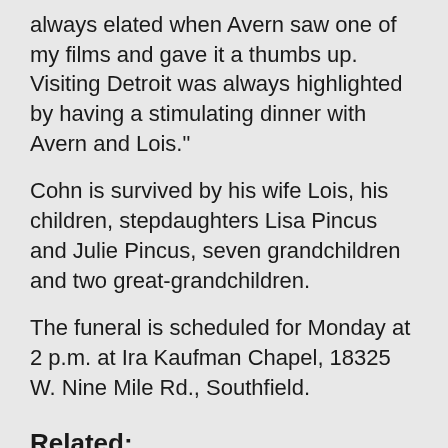always elated when Avern saw one of my films and gave it a thumbs up.  Visiting Detroit was always highlighted by having a stimulating dinner with Avern and Lois."
Cohn is survived by his wife Lois, his children, stepdaughters Lisa Pincus and Julie Pincus, seven grandchildren and two great-grandchildren.
The funeral is scheduled for Monday at 2 p.m. at Ira Kaufman Chapel, 18325 W. Nine Mile Rd., Southfield.
Related:
Retired Detroit Federal Judge Avern Cohn, 97, Unveils Book on His Life